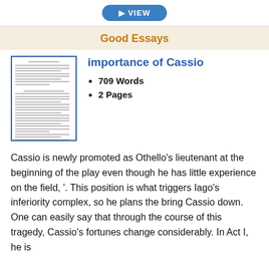[Figure (other): Blue rounded button at top of page]
Good Essays
[Figure (other): Thumbnail preview of essay document with blue border]
importance of Cassio
709 Words
2 Pages
Cassio is newly promoted as Othello's lieutenant at the beginning of the play even though he has little experience on the field, '. This position is what triggers Iago's inferiority complex, so he plans the bring Cassio down. One can easily say that through the course of this tragedy, Cassio's fortunes change considerably. In Act I, he is